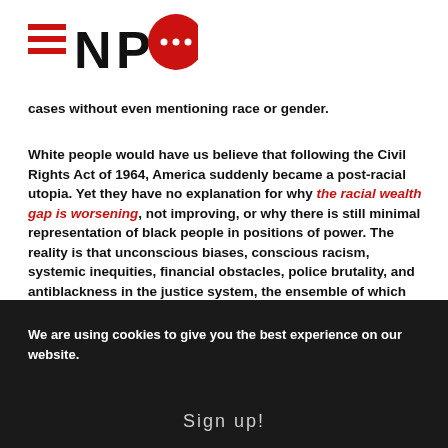NPQ logo
cases without even mentioning race or gender.
White people would have us believe that following the Civil Rights Act of 1964, America suddenly became a post-racial utopia. Yet they have no explanation for why the racial wealth gap is worsening, not improving, or why there is still minimal representation of black people in positions of power. The reality is that unconscious biases, conscious racism, systemic inequities, financial obstacles, police brutality, and antiblackness in the justice system, the ensemble of which are the true definition of “racial discrimination,”
We are using cookies to give you the best experience on our website.
Sign up!